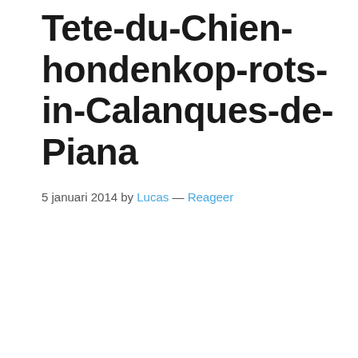Tete-du-Chien-hondenkop-rots-in-Calanques-de-Piana
5 januari 2014 by Lucas — Reageer